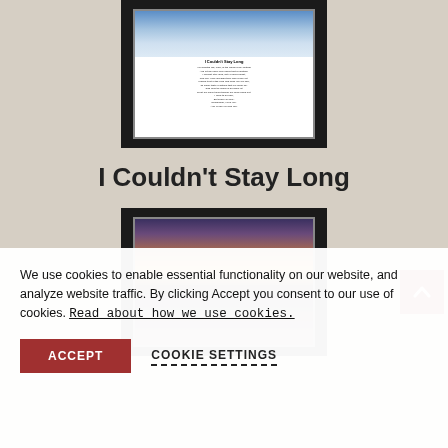[Figure (photo): Framed poem print showing blue sky with clouds at top, poem text 'I Couldn't Stay Long' on white background below]
I Couldn't Stay Long
[Figure (photo): Framed print showing a sunset over water with dark silhouette landscape]
We use cookies to enable essential functionality on our website, and analyze website traffic. By clicking Accept you consent to our use of cookies. Read about how we use cookies.
ACCEPT
COOKIE SETTINGS